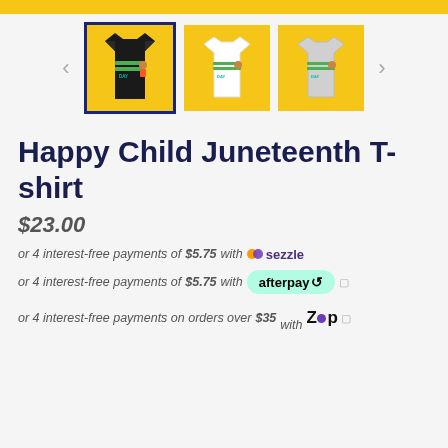[Figure (screenshot): Top yellow bar banner]
[Figure (photo): Product image gallery showing three t-shirt variants: black, white, and grey, each with Juneteenth design. First image is selected with dark blue border.]
Happy Child Juneteenth T-shirt
$23.00
or 4 interest-free payments of $5.75 with sezzle
or 4 interest-free payments of $5.75 with afterpay
or 4 interest-free payments on orders over $35 with Zip